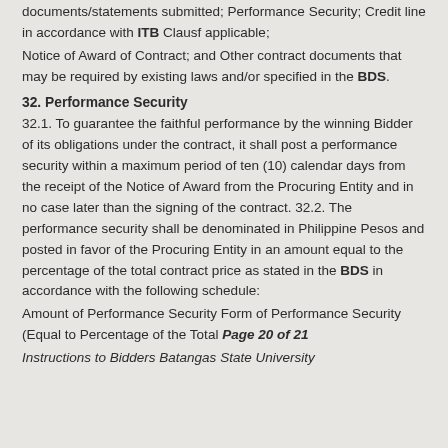documents/statements submitted; Performance Security; Credit line in accordance with ITB Clause applicable;
Notice of Award of Contract; and Other contract documents that may be required by existing laws and/or specified in the BDS.
32. Performance Security
32.1. To guarantee the faithful performance by the winning Bidder of its obligations under the contract, it shall post a performance security within a maximum period of ten (10) calendar days from the receipt of the Notice of Award from the Procuring Entity and in no case later than the signing of the contract. 32.2. The performance security shall be denominated in Philippine Pesos and posted in favor of the Procuring Entity in an amount equal to the percentage of the total contract price as stated in the BDS in accordance with the following schedule:
Amount of Performance Security Form of Performance Security (Equal to Percentage of the Total Page 20 of 21
Instructions to Bidders Batangas State University